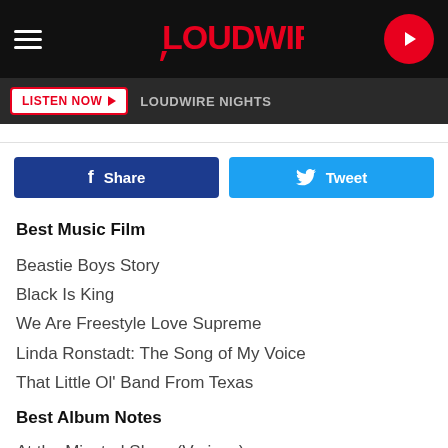LOUDWIRE
LISTEN NOW | LOUDWIRE NIGHTS
[Figure (other): Facebook Share button and Twitter Tweet button]
Best Music Film
Beastie Boys Story
Black Is King
We Are Freestyle Love Supreme
Linda Ronstadt: The Song of My Voice
That Little Ol' Band From Texas
Best Album Notes
At the Minstrel Show (Various)
The Bakersfield Sound (Various)